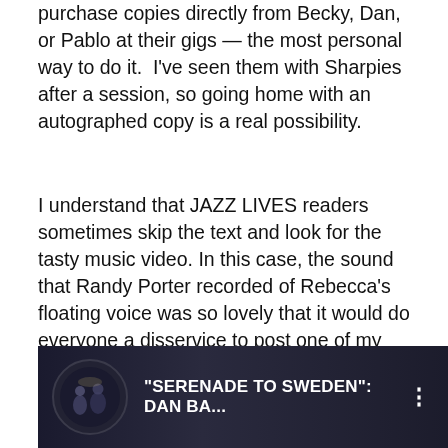purchase copies directly from Becky, Dan, or Pablo at their gigs — the most personal way to do it.  I've seen them with Sharpies after a session, so going home with an autographed copy is a real possibility.
I understand that JAZZ LIVES readers sometimes skip the text and look for the tasty music video. In this case, the sound that Randy Porter recorded of Rebecca's floating voice was so lovely that it would do everyone a disservice to post one of my session videos.  But I think I will be forgiven if I post Dan and Paolo's memorably dark and lovely SERENADE TO SWEDEN as a musical appetizer.  Thanks to Randy, it sounds even more glorious on the CD:
[Figure (screenshot): YouTube video thumbnail showing a dark concert scene with two performers. Title reads: "SERENADE TO SWEDEN": DAN BA... with a vertical three-dot menu icon on the right.]